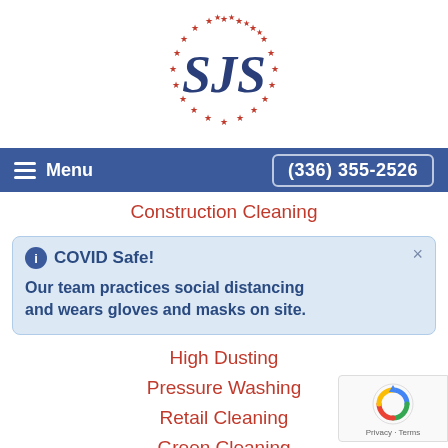[Figure (logo): SJS logo: circular ring of red stars with dark blue stylized 'SJS' text in the center]
Menu  (336) 355-2526
Construction Cleaning
COVID Safe! Our team practices social distancing and wears gloves and masks on site.
High Dusting
Pressure Washing
Retail Cleaning
Green Cleaning